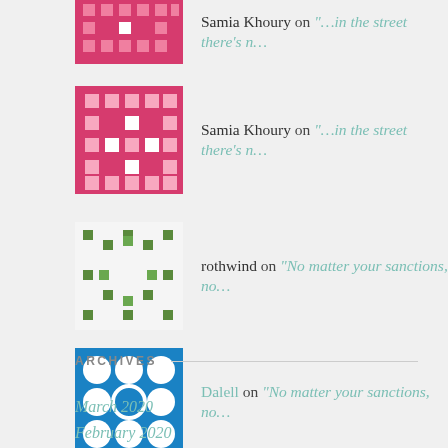Samia Khoury on "…in the street there's n…
rothwind on "No matter your sanctions, no…
Dalell on "No matter your sanctions, no…
Baharan Muse on "…strangers with their rif…
ARCHIVES
March 2020
February 2020